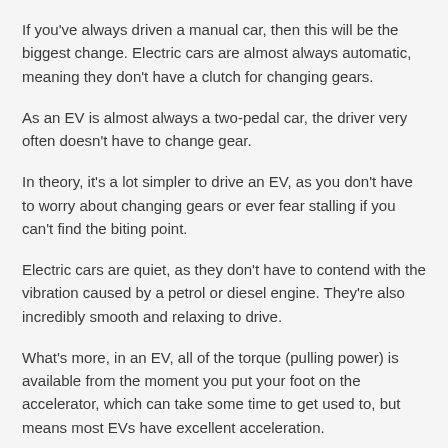If you've always driven a manual car, then this will be the biggest change. Electric cars are almost always automatic, meaning they don't have a clutch for changing gears.
As an EV is almost always a two-pedal car, the driver very often doesn't have to change gear.
In theory, it's a lot simpler to drive an EV, as you don't have to worry about changing gears or ever fear stalling if you can't find the biting point.
Electric cars are quiet, as they don't have to contend with the vibration caused by a petrol or diesel engine. They're also incredibly smooth and relaxing to drive.
What's more, in an EV, all of the torque (pulling power) is available from the moment you put your foot on the accelerator, which can take some time to get used to, but means most EVs have excellent acceleration.
Charging...